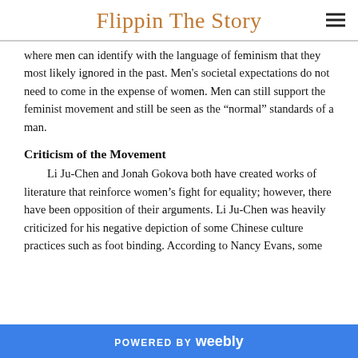Flippin The Story
where men can identify with the language of feminism that they most likely ignored in the past. Men's societal expectations do not need to come in the expense of women. Men can still support the feminist movement and still be seen as the “normal” standards of a man.
Criticism of the Movement
Li Ju-Chen and Jonah Gokova both have created works of literature that reinforce women’s fight for equality; however, there have been opposition of their arguments. Li Ju-Chen was heavily criticized for his negative depiction of some Chinese culture practices such as foot binding. According to Nancy Evans, some
POWERED BY weebly